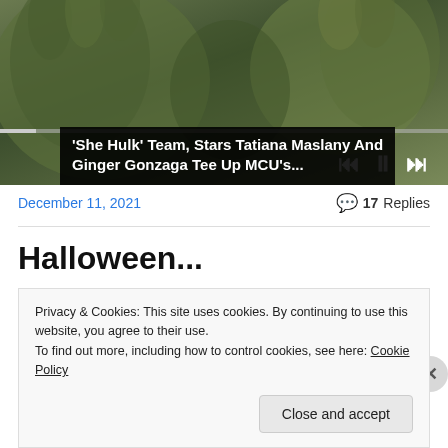[Figure (screenshot): Video player showing green-tinted hands, with playback controls (skip back, pause, skip forward) and a progress bar. Video title overlay reads: 'She Hulk' Team, Stars Tatiana Maslany And Ginger Gonzaga Tee Up MCU's...]
December 11, 2021
💬 17 Replies
Halloween...
Privacy & Cookies: This site uses cookies. By continuing to use this website, you agree to their use.
To find out more, including how to control cookies, see here: Cookie Policy
Close and accept